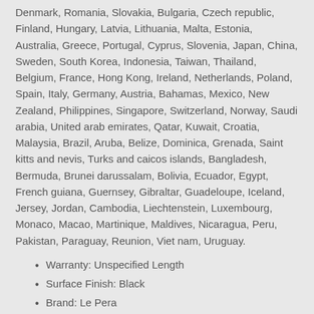Denmark, Romania, Slovakia, Bulgaria, Czech republic, Finland, Hungary, Latvia, Lithuania, Malta, Estonia, Australia, Greece, Portugal, Cyprus, Slovenia, Japan, China, Sweden, South Korea, Indonesia, Taiwan, Thailand, Belgium, France, Hong Kong, Ireland, Netherlands, Poland, Spain, Italy, Germany, Austria, Bahamas, Mexico, New Zealand, Philippines, Singapore, Switzerland, Norway, Saudi arabia, United arab emirates, Qatar, Kuwait, Croatia, Malaysia, Brazil, Aruba, Belize, Dominica, Grenada, Saint kitts and nevis, Turks and caicos islands, Bangladesh, Bermuda, Brunei darussalam, Bolivia, Ecuador, Egypt, French guiana, Guernsey, Gibraltar, Guadeloupe, Iceland, Jersey, Jordan, Cambodia, Liechtenstein, Luxembourg, Monaco, Macao, Martinique, Maldives, Nicaragua, Peru, Pakistan, Paraguay, Reunion, Viet nam, Uruguay.
Warranty: Unspecified Length
Surface Finish: Black
Brand: Le Pera
Manufacturer Part Number: LGX-860